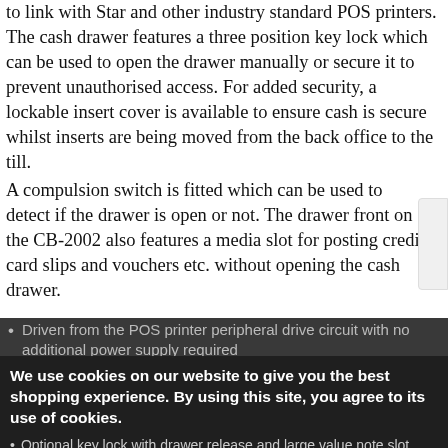to link with Star and other industry standard POS printers. The cash drawer features a three position key lock which can be used to open the drawer manually or secure it to prevent unauthorised access. For added security, a lockable insert cover is available to ensure cash is secure whilst inserts are being moved from the back office to the till.
A compulsion switch is fitted which can be used to detect if the drawer is open or not. The drawer front on the CB-2002 also features a media slot for posting credit card slips and vouchers etc. without opening the cash drawer.
Driven from the POS printer peripheral drive circuit with no additional power supply required
Optional key lock with drawer release and large value note slot
Dimensions: 410(w) x ... 4(h) V...
Black. Two further colours- Charcoal Grey and Ultra...
We use cookies on our website to give you the best shopping experience. By using this site, you agree to its use of cookies.